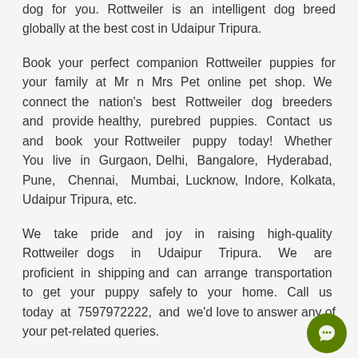dog for you. Rottweiler is an intelligent dog breed globally at the best cost in Udaipur Tripura.
Book your perfect companion Rottweiler puppies for your family at Mr n Mrs Pet online pet shop. We connect the nation's best Rottweiler dog breeders and provide healthy, purebred puppies. Contact us and book your Rottweiler puppy today! Whether You live in Gurgaon, Delhi, Bangalore, Hyderabad, Pune, Chennai, Mumbai, Lucknow, Indore, Kolkata, Udaipur Tripura, etc.
We take pride and joy in raising high-quality Rottweiler dogs in Udaipur Tripura. We are proficient in shipping and can arrange transportation to get your puppy safely to your home. Call us today at 7597972222, and we'd love to answer any of your pet-related queries.
Why MMP?
Looking for a new companion? At Mr n Mrs MMP is the perfect...